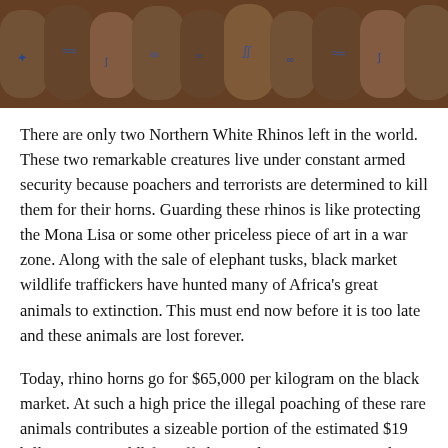[Figure (photo): Close-up photograph of elephant tusks (ivory) with blue markings/stamps on them, arranged in rows. The tusks appear brownish and weathered.]
There are only two Northern White Rhinos left in the world. These two remarkable creatures live under constant armed security because poachers and terrorists are determined to kill them for their horns. Guarding these rhinos is like protecting the Mona Lisa or some other priceless piece of art in a war zone. Along with the sale of elephant tusks, black market wildlife traffickers have hunted many of Africa's great animals to extinction. This must end now before it is too late and these animals are lost forever.
Today, rhino horns go for $65,000 per kilogram on the black market. At such a high price the illegal poaching of these rare animals contributes a sizeable portion of the estimated $19 billion a year wildlife trafficking industry. Terrorists and other extremist groups have noticed this lucrative business as a source of funding